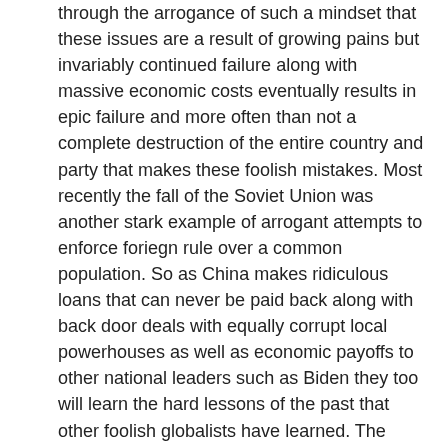through the arrogance of such a mindset that these issues are a result of growing pains but invariably continued failure along with massive economic costs eventually results in epic failure and more often than not a complete destruction of the entire country and party that makes these foolish mistakes. Most recently the fall of the Soviet Union was another stark example of arrogant attempts to enforce foriegn rule over a common population. So as China makes ridiculous loans that can never be paid back along with back door deals with equally corrupt local powerhouses as well as economic payoffs to other national leaders such as Biden they too will learn the hard lessons of the past that other foolish globalists have learned. The conquering of the entire planet with so many diverse ideals is folly and is destined to failure. While the backstabbing vultures like the Bidens and their ilk continue to prey on those they claim to represent their goals will remain unattainable and destined to fail. The cost to humanity is immeasurable and as always through history these disgusting examples of human waste continue to